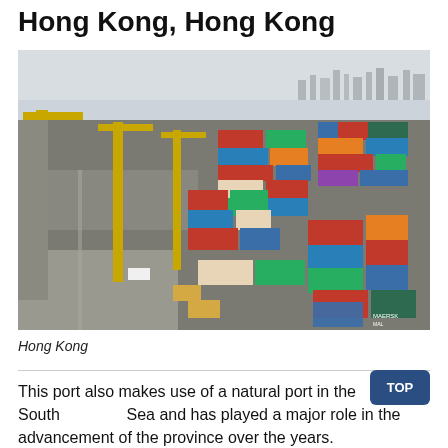Hong Kong, Hong Kong
[Figure (photo): Aerial view of the Hong Kong container port showing stacked shipping containers in various colors (red, blue, green, orange) with yellow cranes and trucks on the dock roads.]
Hong Kong
This port also makes use of a natural port in the South China Sea and has played a major role in the advancement of the province over the years.